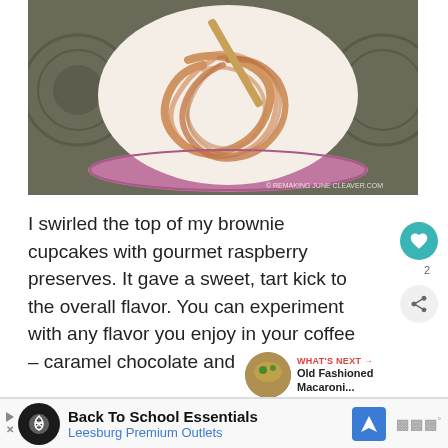[Figure (photo): Close-up photo of brownie cupcakes in a muffin tin with white batter swirled with raspberry preserves, showing a wooden skewer used for swirling. Watermark reads: © REMAKING JUNE CLEAVER.COM]
I swirled the top of my brownie cupcakes with gourmet raspberry preserves. It gave a sweet, tart kick to the overall flavor. You can experiment with any flavor you enjoy in your coffee – caramel chocolate and more.
[Figure (photo): Small circular thumbnail of a food dish (Old Fashioned Macaroni) next to a 'WHAT'S NEXT' label]
WHAT'S NEXT → Old Fashioned Macaroni...
[Figure (advertisement): Ad banner: Back To School Essentials - Leesburg Premium Outlets, with navigation icon and logo]